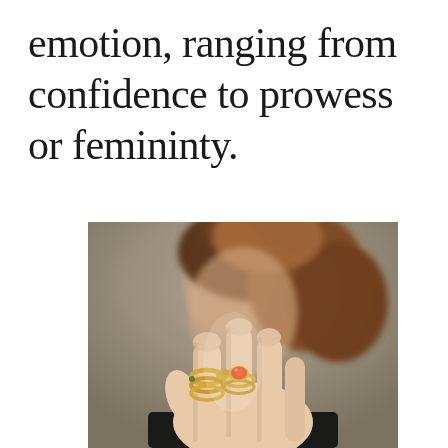emotion, ranging from confidence to prowess or femininty.
[Figure (photo): A close-up photograph of a woman's hand in the foreground wearing gold rings — one coiled snake-style ring on the index finger and one with a red/orange stone on the middle finger. The woman's face and other hand are blurred in the background. She has curly reddish-brown hair.]